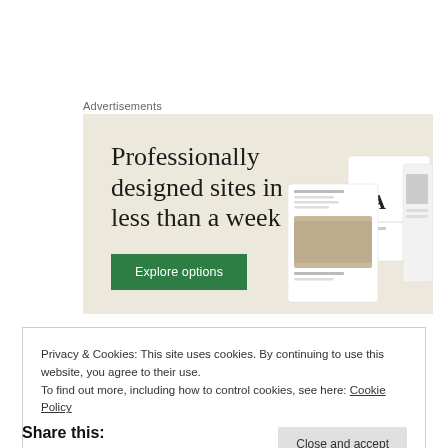Advertisements
[Figure (illustration): Advertisement banner with beige background. Large serif text reads 'Professionally designed sites in less than a week' with a green 'Explore options' button and website mockup images on the right.]
Privacy & Cookies: This site uses cookies. By continuing to use this website, you agree to their use.
To find out more, including how to control cookies, see here: Cookie Policy
Close and accept
Share this: